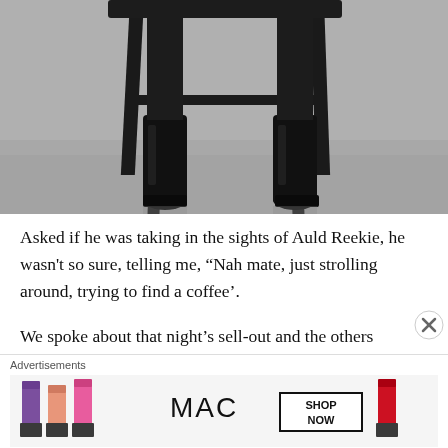[Figure (photo): Black and white photograph showing lower portion of a figure near a dark wooden stool/chair, with legs wearing shiny boots visible against a neutral grey background.]
Asked if he was taking in the sights of Auld Reekie, he wasn't so sure, telling me, “Nah mate, just strolling around, trying to find a coffee’.
We spoke about that night’s sell-out and the others already confirmed, and I put it to Miles that he must be on a creative high at present.
“It’s been fun – a lot of fun, and you can’t ask any more
[Figure (illustration): MAC Cosmetics advertisement banner showing lipsticks in purple, peach, pink, and red colors alongside the MAC logo and a SHOP NOW button.]